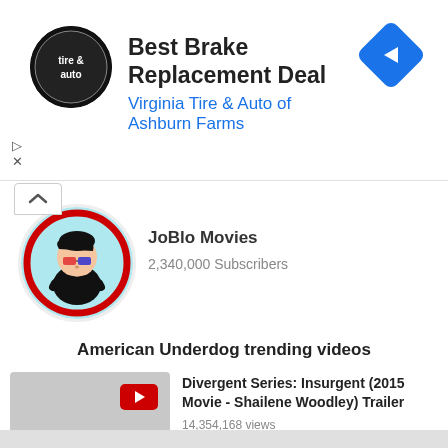[Figure (infographic): Ad banner with Virginia Tire & Auto logo (circular black badge), navigation arrow diamond icon on right]
Best Brake Replacement Deal
Virginia Tire & Auto of Ashburn Farms
[Figure (illustration): JoBlo Movies YouTube channel avatar - cartoon character with 3D glasses in red circle]
JoBlo Movies
2,340,000 Subscribers
American Underdog trending videos
[Figure (screenshot): YouTube video thumbnail placeholder (gray) with red play button and dots menu button]
Divergent Series: Insurgent (2015 Movie - Shailene Woodley) Trailer
14,354,168 views